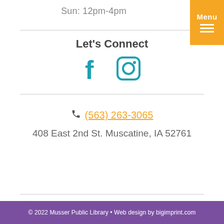Sun: 12pm-4pm
Let's Connect
[Figure (illustration): Facebook and Instagram social media icons in teal/blue color]
(563) 263-3065
408 East 2nd St. Muscatine, IA 52761
© 2022 Musser Public Library • Web design by bigimprint.com